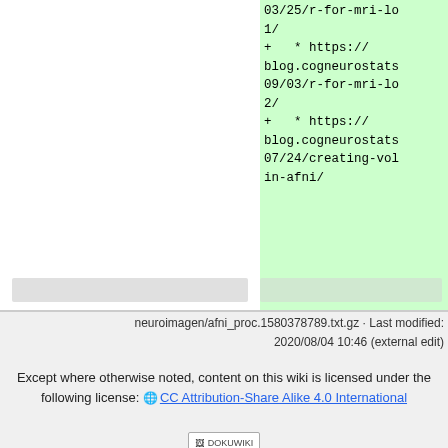[Figure (screenshot): Diff view showing code additions in green. Right pane shows lines with '+' prefix containing URLs: 03/25/r-for-mri-lo 1/, + * https://blog.cogneurostats 09/03/r-for-mri-lo 2/, + * https://blog.cogneurostats 07/24/creating-vol in-afni/]
neuroimagen/afni_proc.1580378789.txt.gz · Last modified: 2020/08/04 10:46 (external edit)
Except where otherwise noted, content on this wiki is licensed under the following license: 🌐 CC Attribution-Share Alike 4.0 International
[Figure (infographic): Row of badges: CC BY-SA, DONATE, PHP POWERED, W3C HTML5, W3C CSS, and DokuWiki badges]